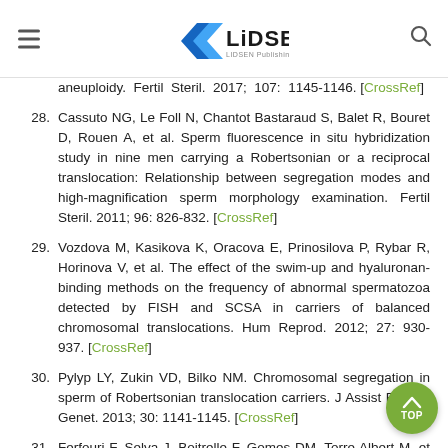LIDSEN Publishing Inc.
aneuploidy. Fertil Steril. 2017; 107: 1145-1146. [CrossRef]
28. Cassuto NG, Le Foll N, Chantot Bastaraud S, Balet R, Bouret D, Rouen A, et al. Sperm fluorescence in situ hybridization study in nine men carrying a Robertsonian or a reciprocal translocation: Relationship between segregation modes and high-magnification sperm morphology examination. Fertil Steril. 2011; 96: 826-832. [CrossRef]
29. Vozdova M, Kasikova K, Oracova E, Prinosilova P, Rybar R, Horinova V, et al. The effect of the swim-up and hyaluronan-binding methods on the frequency of abnormal spermatozoa detected by FISH and SCSA in carriers of balanced chromosomal translocations. Hum Reprod. 2012; 27: 930-937. [CrossRef]
30. Pylyp LY, Zukin VD, Bilko NM. Chromosomal segregation in sperm of Robertsonian translocation carriers. J Assist Reprod Genet. 2013; 30: 1141-1145. [CrossRef]
31. Ferfouri F, Selva J, Boitrelle F, Gomes DM, Torre... Albert M, et al. The chromosomal risk in sperm from...